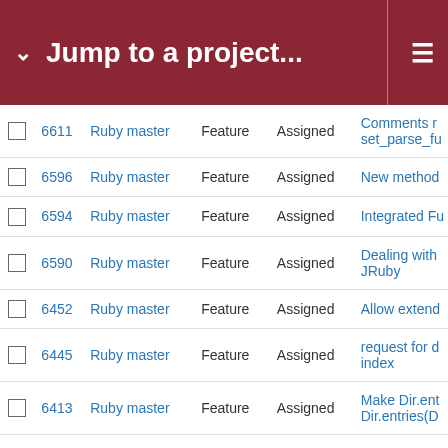Jump to a project...
|  | # | Project | Type | Status | Subject |
| --- | --- | --- | --- | --- | --- |
|  | 6611 | Ruby master | Feature | Assigned | Comments r... set_parse_fu |
|  | 6596 | Ruby master | Feature | Assigned | New method |
|  | 6594 | Ruby master | Feature | Assigned | Integrated Fu |
|  | 6590 | Ruby master | Feature | Assigned | Dealing with JRuby |
|  | 6452 | Ruby master | Feature | Assigned | Allow extend |
|  | 6445 | Ruby master | Feature | Assigned | request for d index |
|  | 6413 | Ruby master | Feature | Assigned | Make Dir.ent Dir.entries(D |
|  | 6376 | Ruby master | Feature | Assigned | Feature look loaded |
|  | 6354 | Ruby master | Feature | Assigned | Remove esc support) fron |
|  | 6337 | Ruby master | Feature | Assigned | FileUtils#syn |